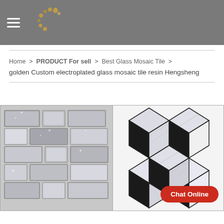Navigation menu and logo header
Home > PRODUCT For sell > Best Glass Mosaic Tile > golden Custom electroplated glass mosaic tile resin Hengsheng
[Figure (photo): Glass mosaic tile product photos: left shows grey/silver brick-pattern mosaic tiles with sparkle texture; right shows black and white marble hexagonal 3D cube-pattern mosaic tiles]
Chat Online